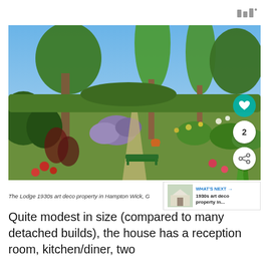[Figure (logo): Three vertical bar icon logo (Wixxi or similar), grey color, top right corner]
[Figure (photo): Photo of The Lodge 1930s art deco property garden in Hampton Wick. Lush garden with trees, shrubs, flowers, a green bench, and a path, under a blue sky. Social interaction buttons overlay: teal heart button, white circle with '2', white share button.]
The Lodge 1930s art deco property in Hampton Wick, G... WHAT'S NEXT → 1930s art deco property in...
Quite modest in size (compared to many detached builds), the house has a reception room, kitchen/diner, two